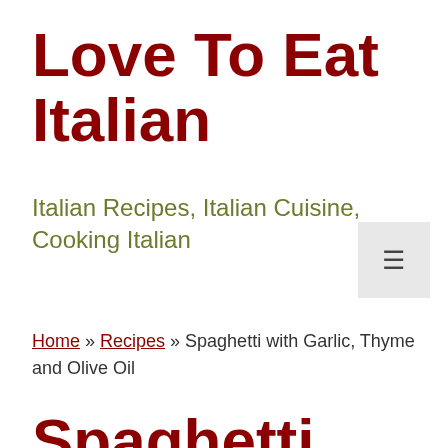Love To Eat Italian
Italian Recipes, Italian Cuisine, Cooking Italian
Home » Recipes » Spaghetti with Garlic, Thyme and Olive Oil
Spaghetti with